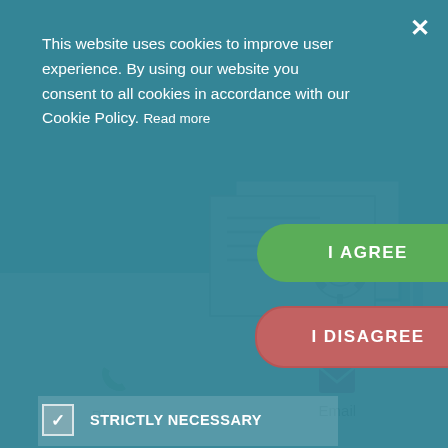[Figure (screenshot): Cookie consent overlay on a teal/dark-cyan website background. The overlay contains cookie consent text, I AGREE (green) and I DISAGREE (red/muted) buttons, and four checkbox options: STRICTLY NECESSARY (checked), PERFORMANCE (unchecked), TARGETING (unchecked), UNCLASSIFIED (unchecked). An X close button appears top-right. Behind the overlay, faint white italic text is partially visible. Below the overlay is a white section with a document/gear illustration and a footer with Phone and Email icons.]
This website uses cookies to improve user experience. By using our website you consent to all cookies in accordance with our Cookie Policy. Read more
STRICTLY NECESSARY
PERFORMANCE
TARGETING
UNCLASSIFIED
[Figure (illustration): Document with gear/settings icon illustration in line-art style, teal and white colors]
Phone
Email